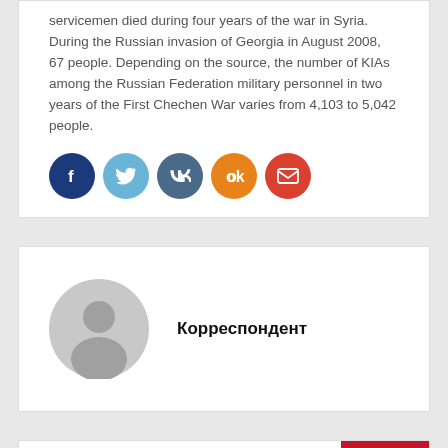servicemen died during four years of the war in Syria. During the Russian invasion of Georgia in August 2008, 67 people. Depending on the source, the number of KIAs among the Russian Federation military personnel in two years of the First Chechen War varies from 4,103 to 5,042 people.
[Figure (infographic): Five social share buttons: Facebook (dark blue), Twitter (light blue), VK (dark slate blue), Odnoklassniki (orange), Email (red)]
[Figure (illustration): Generic user avatar placeholder in grey tones showing silhouette of person]
Корреспондент
[Figure (other): Scroll-to-top button with upward chevron arrow on red background, bottom right]